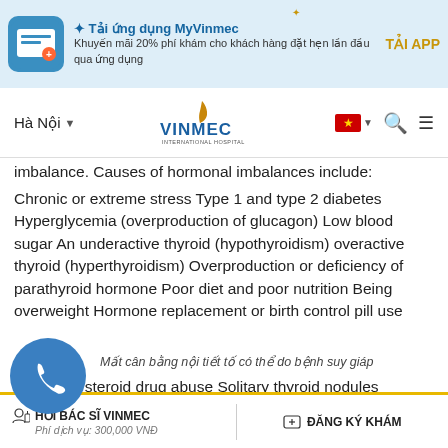Tải ứng dụng MyVinmec — Khuyến mãi 20% phí khám cho khách hàng đặt hẹn lần đầu qua ứng dụng — TẢI APP
Hà Nội — VINMEC INTERNATIONAL HOSPITAL
imbalance. Causes of hormonal imbalances include:
Chronic or extreme stress Type 1 and type 2 diabetes Hyperglycemia (overproduction of glucagon) Low blood sugar An underactive thyroid (hypothyroidism) overactive thyroid (hyperthyroidism) Overproduction or deficiency of parathyroid hormone Poor diet and poor nutrition Being overweight Hormone replacement or birth control pill use
Mất cân bằng nội tiết tố có thể do bệnh suy giáp
An... steroid drug abuse Solitary thyroid nodules Cushing's syndrome (high levels of the hormone cortisol) Addison's disease
HỎI BÁC SĨ VINMEC — Phí dịch vụ: 300,000 VNĐ — ĐĂNG KÝ KHÁM